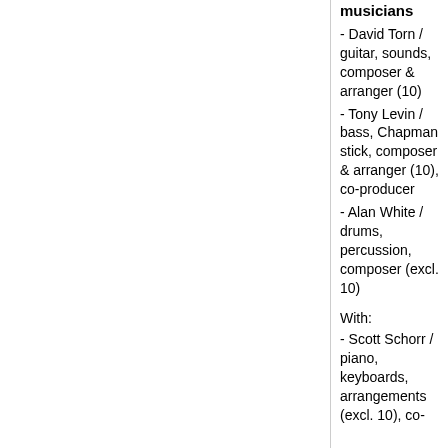musicians
- David Torn / guitar, sounds, composer & arranger (10)
- Tony Levin / bass, Chapman stick, composer & arranger (10), co-producer
- Alan White / drums, percussion, composer (excl. 10)
With:
- Scott Schorr / piano, keyboards, arrangements (excl. 10), co-